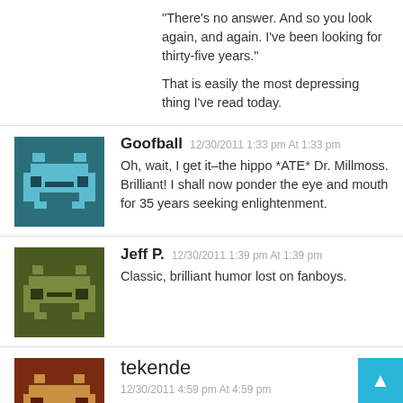“There’s no answer. And so you look again, and again. I’ve been looking for thirty-five years.”

That is easily the most depressing thing I’ve read today.
Goofball 12/30/2011 1:33 pm At 1:33 pm
Oh, wait, I get it–the hippo *ATE* Dr. Millmoss. Brilliant! I shall now ponder the eye and mouth for 35 years seeking enlightenment.
Jeff P. 12/30/2011 1:39 pm At 1:39 pm
Classic, brilliant humor lost on fanboys.
tekende
12/30/2011 4:59 pm At 4:59 pm
Perfect? There’s nothing good about that cartoon. The hippo barely even looks like a hippo.